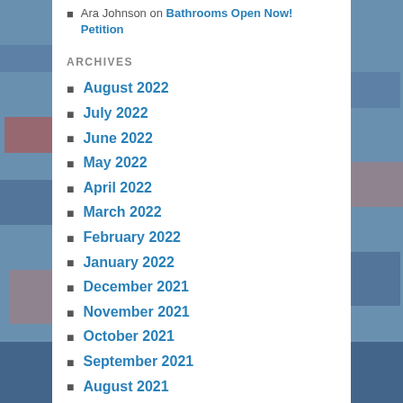Ara Johnson on Bathrooms Open Now! Petition
ARCHIVES
August 2022
July 2022
June 2022
May 2022
April 2022
March 2022
February 2022
January 2022
December 2021
November 2021
October 2021
September 2021
August 2021
July 2021
June 2021
May 2021
April 2021
March 2021